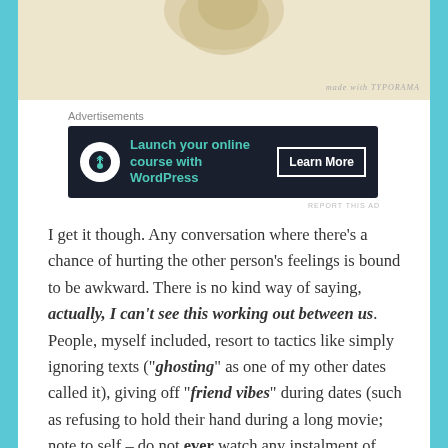[Figure (photo): Partial view of a food item on a cream/beige background with 'made with TYPORAMA' watermark in bottom right]
Advertisements
[Figure (other): Advertisement banner: dark navy background with bonsai tree icon, teal text 'Launch your online course with WordPress', white outlined button 'Learn More']
REPORT THIS AD
I get it though. Any conversation where there's a chance of hurting the other person's feelings is bound to be awkward. There is no kind way of saying, actually, I can't see this working out between us. People, myself included, resort to tactics like simply ignoring texts ("ghosting" as one of my other dates called it), giving off "friend vibes" during dates (such as refusing to hold their hand during a long movie; note to self – do not ever watch any instalment of LOTR or The Hobbit unless you're really sure of your bloody date) or just